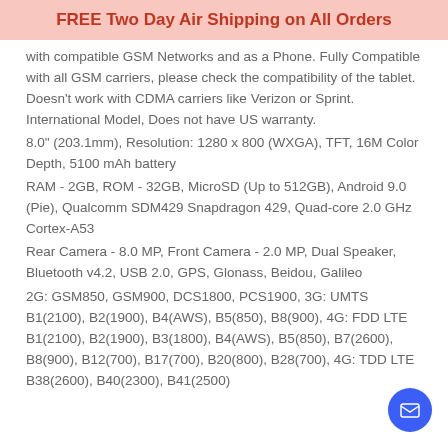FREE Two Day Air Shipping on All Orders
with compatible GSM Networks and as a Phone. Fully Compatible with all GSM carriers, please check the compatibility of the tablet. Doesn't work with CDMA carriers like Verizon or Sprint. International Model, Does not have US warranty.
8.0" (203.1mm), Resolution: 1280 x 800 (WXGA), TFT, 16M Color Depth, 5100 mAh battery
RAM - 2GB, ROM - 32GB, MicroSD (Up to 512GB), Android 9.0 (Pie), Qualcomm SDM429 Snapdragon 429, Quad-core 2.0 GHz Cortex-A53
Rear Camera - 8.0 MP, Front Camera - 2.0 MP, Dual Speaker, Bluetooth v4.2, USB 2.0, GPS, Glonass, Beidou, Galileo
2G: GSM850, GSM900, DCS1800, PCS1900, 3G: UMTS B1(2100), B2(1900), B4(AWS), B5(850), B8(900), 4G: FDD LTE B1(2100), B2(1900), B3(1800), B4(AWS), B5(850), B7(2600), B8(900), B12(700), B17(700), B20(800), B28(700), 4G: TDD LTE B38(2600), B40(2300), B41(2500)